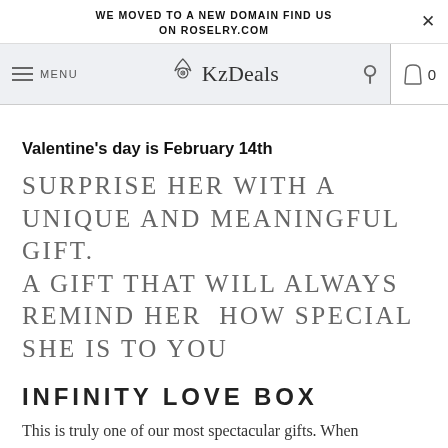WE MOVED TO A NEW DOMAIN FIND US ON ROSELRY.COM
[Figure (screenshot): KzDeals website navigation bar with hamburger menu, KzDeals logo with necklace icon, search icon, and cart icon showing 0]
Valentine's day is February 14th
SURPRISE HER WITH A UNIQUE AND MEANINGFUL GIFT. A GIFT THAT WILL ALWAYS REMIND HER  HOW SPECIAL SHE IS TO YOU
INFINITY LOVE BOX
This is truly one of our most spectacular gifts. When